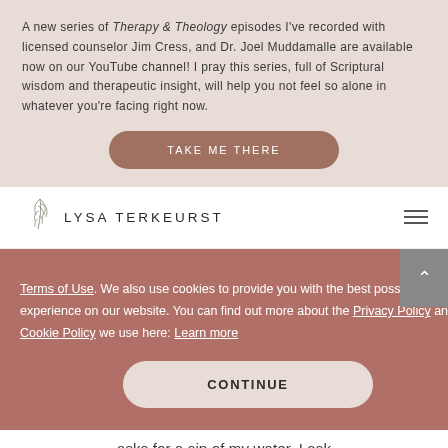A new series of Therapy & Theology episodes I've recorded with licensed counselor Jim Cress, and Dr. Joel Muddamalle are available now on our YouTube channel! I pray this series, full of Scriptural wisdom and therapeutic insight, will help you not feel so alone in whatever you're facing right now.
[Figure (other): Button labeled 'TAKE ME THERE' in white text on a rounded mauve/dusty rose rectangle]
[Figure (logo): Lysa TerKeurst logo with stylized leaf/branch illustration and text 'LYSA TERKEURST' in spaced uppercase letters]
Terms of Use. We also use cookies to provide you with the best possible experience on our website. You can find out more about the Privacy Policy and Cookie Policy we use here: Learn more
[Figure (other): Button labeled 'CONTINUE' in bold dark text on a rounded light beige rectangle, overlaid on the cookie consent banner]
asks for a sip of my water, I ask